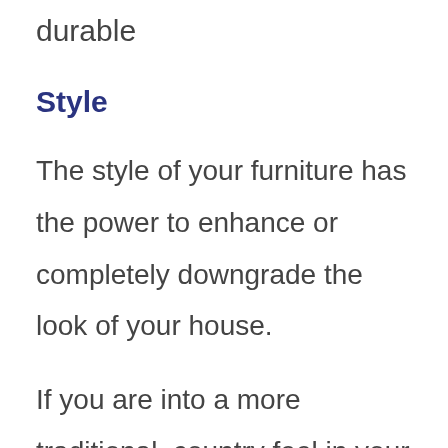durable
Style
The style of your furniture has the power to enhance or completely downgrade the look of your house.
If you are into a more traditional, country feel in your home, then furniture from Ashley would be a